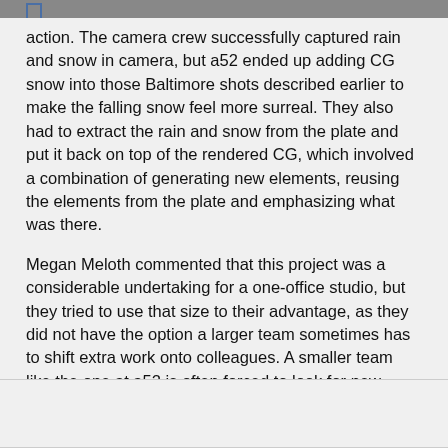action. The camera crew successfully captured rain and snow in camera, but a52 ended up adding CG snow into those Baltimore shots described earlier to make the falling snow feel more surreal. They also had to extract the rain and snow from the plate and put it back on top of the rendered CG, which involved a combination of generating new elements, reusing the elements from the plate and emphasizing what was there.
Megan Meloth commented that this project was a considerable undertaking for a one-office studio, but they tried to use that size to their advantage, as they did not have the option a larger team sometimes has to shift extra work onto colleagues. A smaller team like the one at a52 is often forced to look for new ways to become more efficient, benefitting both the short-term work for each project and their long-term ability to take on large scale projects for major clients.  www.a52.com